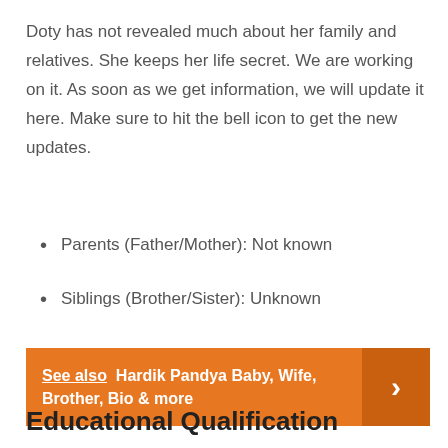Doty has not revealed much about her family and relatives. She keeps her life secret. We are working on it. As soon as we get information, we will update it here. Make sure to hit the bell icon to get the new updates.
Parents (Father/Mother): Not known
Siblings (Brother/Sister): Unknown
See also  Hardik Pandya Baby, Wife, Brother, Bio & more
Educational Qualification